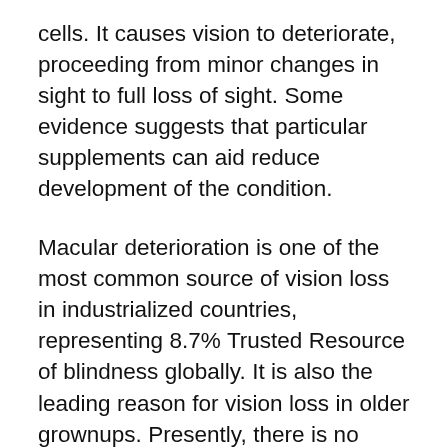cells. It causes vision to deteriorate, proceeding from minor changes in sight to full loss of sight. Some evidence suggests that particular supplements can aid reduce development of the condition.
Macular deterioration is one of the most common source of vision loss in industrialized countries, representing 8.7% Trusted Resource of blindness globally. It is also the leading reason for vision loss in older grownups. Presently, there is no remedy, and therapies aim to decrease the speed at which macular degeneration advances, to postpone the effects on vision. Evidence recommends that dietary supplements might help in reducing the possibilities of creating macular…